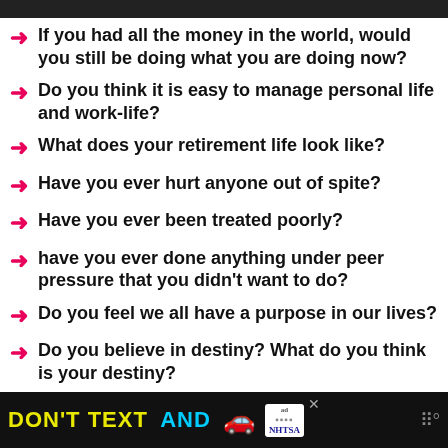If you had all the money in the world, would you still be doing what you are doing now?
Do you think it is easy to manage personal life and work-life?
What does your retirement life look like?
Have you ever hurt anyone out of spite?
Have you ever been treated poorly?
have you ever done anything under peer pressure that you didn't want to do?
Do you feel we all have a purpose in our lives?
Do you believe in destiny? What do you think is your destiny?
How important do you think is trust in any
DON'T TEXT AND [car emoji] ad NHTSA